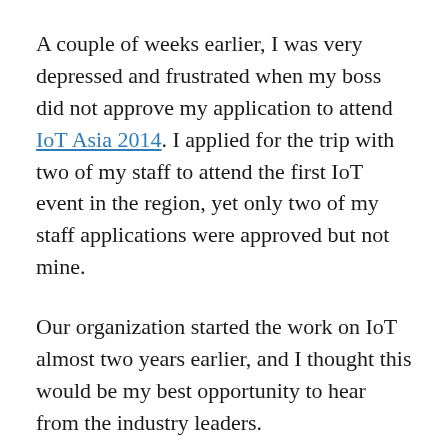A couple of weeks earlier, I was very depressed and frustrated when my boss did not approve my application to attend IoT Asia 2014. I applied for the trip with two of my staff to attend the first IoT event in the region, yet only two of my staff applications were approved but not mine.
Our organization started the work on IoT almost two years earlier, and I thought this would be my best opportunity to hear from the industry leaders.
But the news that my staff brought to me was very unexpected. I wondered – how do I get to be selected by a prestigious organization like